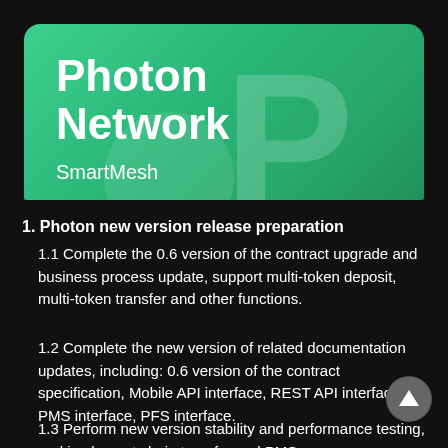[Figure (logo): Photon Network SmartMesh banner with large white bold text 'Photon Network', subtitle 'SmartMesh', and a large stylized 'P' logo on a green gradient background]
1. Photon new version release preparation
1.1 Complete the 0.6 version of the contract upgrade and business process update, support multi-token deposit, multi-token transfer and other functions.
1.2 Complete the new version of related documentation updates, including: 0.6 version of the contract specification, Mobile API interface, REST API interface, PMS interface, PFS interface.
1.3 Perform new version stability and performance testing, and implement chain transfer and PMS